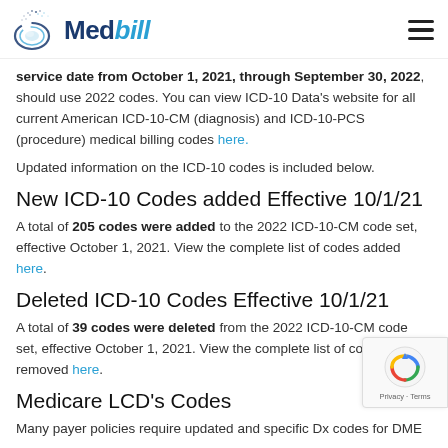[Figure (logo): Medbill logo with water splash graphic and bold navy/blue italic text]
service date from October 1, 2021, through September 30, 2022, should use 2022 codes. You can view ICD-10 Data's website for all current American ICD-10-CM (diagnosis) and ICD-10-PCS (procedure) medical billing codes here.
Updated information on the ICD-10 codes is included below.
New ICD-10 Codes added Effective 10/1/21
A total of 205 codes were added to the 2022 ICD-10-CM code set, effective October 1, 2021. View the complete list of codes added here.
Deleted ICD-10 Codes Effective 10/1/21
A total of 39 codes were deleted from the 2022 ICD-10-CM code set, effective October 1, 2021. View the complete list of codes removed here.
Medicare LCD's Codes
Many payer policies require updated and specific Dx codes for DME